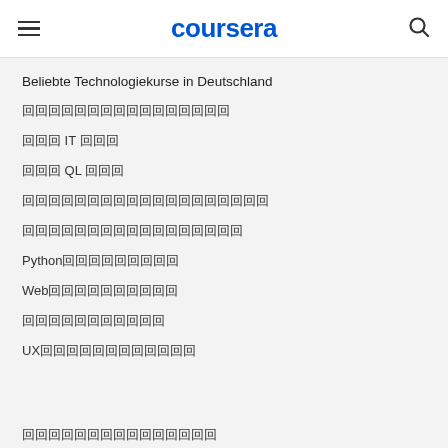coursera
Beliebte Technologiekurse in Deutschland
㊙㊙㊙㊙㊙㊙㊙㊙㊙㊙㊙㊙㊙㊙㊙㊙
㊙㊙㊙ IT ㊙㊙㊙
㊙㊙㊙ QL ㊙㊙㊙
㊙㊙㊙㊙㊙㊙㊙㊙㊙㊙㊙㊙㊙㊙㊙㊙㊙㊙㊙
㊙㊙㊙㊙㊙㊙㊙㊙㊙㊙㊙㊙㊙㊙㊙㊙㊙
Python㊙㊙㊙㊙㊙㊙㊙㊙㊙
Web㊙㊙㊙㊙㊙㊙㊙㊙㊙㊙
㊙㊙㊙㊙㊙㊙㊙㊙㊙㊙㊙
UX㊙㊙㊙㊙㊙㊙㊙㊙㊙㊙㊙㊙
㊙㊙㊙㊙㊙㊙㊙㊙㊙㊙㊙㊙㊙㊙㊙